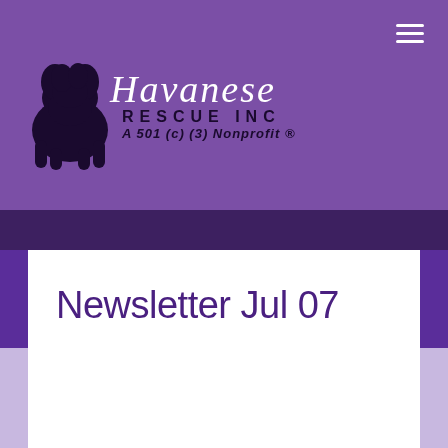[Figure (logo): Havanese Rescue Inc logo: black dog silhouette with cursive 'Havanese' text in white, 'RESCUE INC' in bold spaced caps, and 'A 501(c)(3) Nonprofit ®' below, on purple background]
Newsletter Jul 07